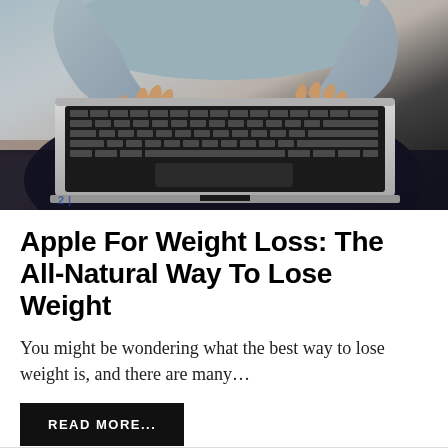[Figure (photo): Person sitting cross-legged, typing on a silver laptop computer, viewed from above. The person wears a light blue/grey long-sleeve top and dark pants. Partial watermark text visible in bottom-left corner.]
Apple For Weight Loss: The All-Natural Way To Lose Weight
You might be wondering what the best way to lose weight is, and there are many…
READ MORE...